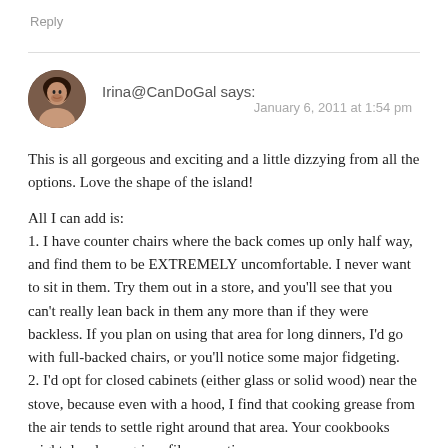Reply
Irina@CanDoGal says: January 6, 2011 at 1:54 pm
This is all gorgeous and exciting and a little dizzying from all the options. Love the shape of the island!
All I can add is:
1. I have counter chairs where the back comes up only half way, and find them to be EXTREMELY uncomfortable. I never want to sit in them. Try them out in a store, and you'll see that you can't really lean back in them any more than if they were backless. If you plan on using that area for long dinners, I'd go with full-backed chairs, or you'll notice some major fidgeting.
2. I'd opt for closed cabinets (either glass or solid wood) near the stove, because even with a hood, I find that cooking grease from the air tends to settle right around that area. Your cookbooks might develop a grimy film over time.
3. I lived in an apartment that had a big DEEP sink like that and I